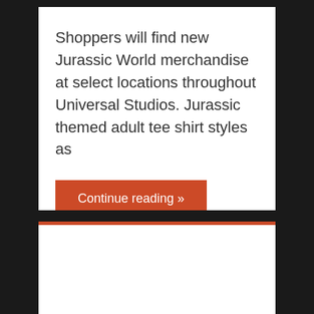Shoppers will find new Jurassic World merchandise at select locations throughout Universal Studios. Jurassic themed adult tee shirt styles as
Continue reading »